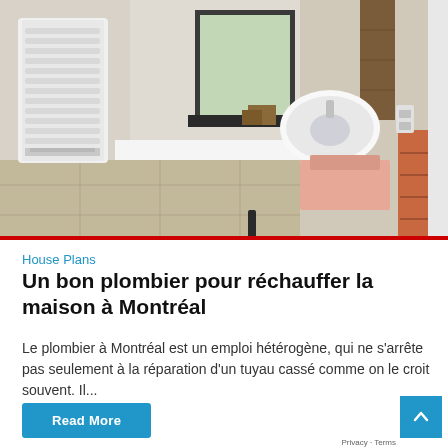[Figure (photo): Interior bathroom photo showing a white heated towel rail/radiator on the left wall, a frosted window above a counter, a round white sink basin on a corner counter, beige/brown wall tiles, and tiled floor. Pink towels visible at lower right.]
House Plans
Un bon plombier pour réchauffer la maison à Montréal
Le plombier à Montréal est un emploi hétérogène, qui ne s'arrête pas seulement à la réparation d'un tuyau cassé comme on le croit souvent. Il...